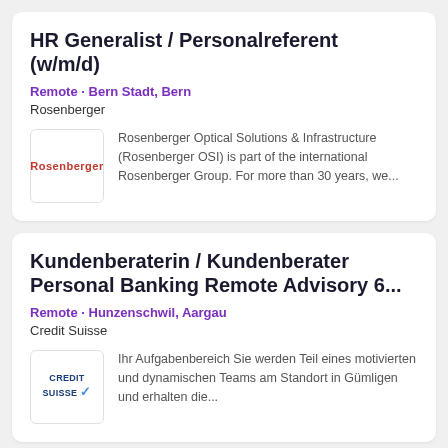HR Generalist / Personalreferent (w/m/d)
Remote • Bern Stadt, Bern
Rosenberger
Rosenberger Optical Solutions & Infrastructure (Rosenberger OSI) is part of the international Rosenberger Group. For more than 30 years, we...
Kundenberaterin / Kundenberater Personal Banking Remote Advisory 6...
Remote • Hunzenschwil, Aargau
Credit Suisse
Ihr Aufgabenbereich Sie werden Teil eines motivierten und dynamischen Teams am Standort in Gümligen und erhalten die...